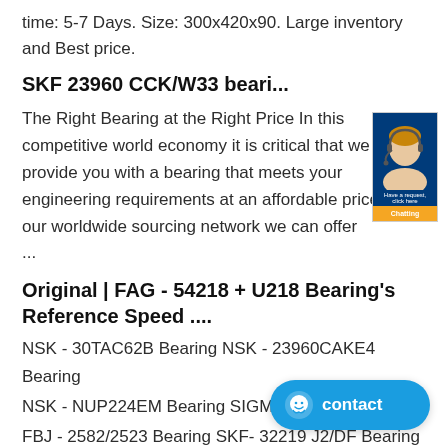time: 5-7 Days. Size: 300x420x90. Large inventory and Best price.
SKF 23960 CCK/W33 beari...
The Right Bearing at the Right Price In this competitive world economy it is critical that we provide you with a bearing that meets your engineering requirements at an affordable price. With our worldwide sourcing network we can offer
...
Original | FAG - 54218 + U218 Bearing's Reference Speed ....
NSK - 30TAC62B Bearing NSK - 23960CAKE4 Bearing
NSK - NUP224EM Bearing SIGMA - RXL
FBJ - 2582/2523 Bearing SKF - 32219 J2/DF Bearing
[Figure (photo): Customer service advisor image with orange button overlay, set in blue branded panel]
[Figure (infographic): Blue rounded chat contact button with smiley face icon and 'contact' text]